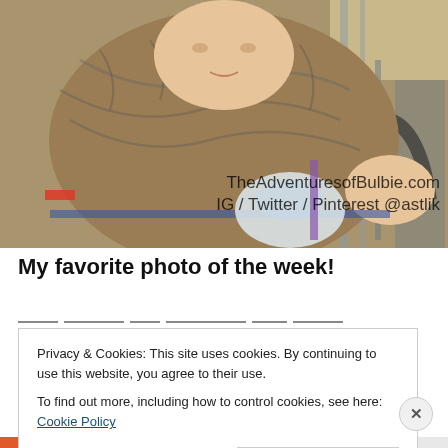[Figure (photo): Baby sitting in a shopping cart, wrapped in a brown and white zebra-print scarf/blanket, holding a bottle. Shopping cart rails visible in background. Watermark text overlaid: 'TheAdventuresofBulbie.com' and 'IG / Twitter / Pinterest @astlik']
My favorite photo of the week!
Privacy & Cookies: This site uses cookies. By continuing to use this website, you agree to their use. To find out more, including how to control cookies, see here: Cookie Policy
Close and accept